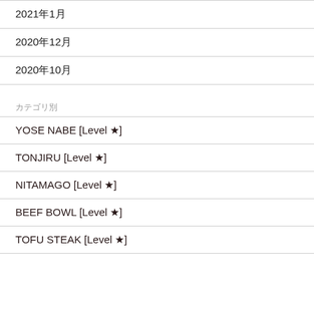2021年1月
2020年12月
2020年10月
カテゴリ別
YOSE NABE [Level ★]
TONJIRU [Level ★]
NITAMAGO [Level ★]
BEEF BOWL [Level ★]
TOFU STEAK [Level ★]